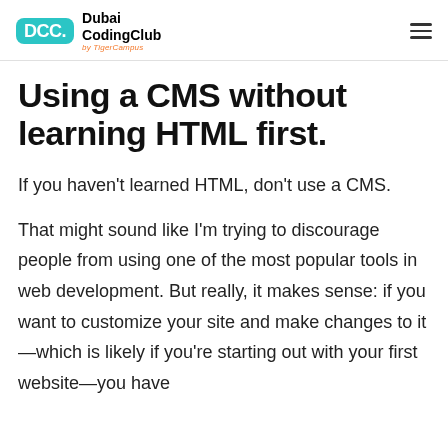DCC. Dubai CodingClub by TigerCampus
Using a CMS without learning HTML first.
If you haven't learned HTML, don't use a CMS.
That might sound like I'm trying to discourage people from using one of the most popular tools in web development. But really, it makes sense: if you want to customize your site and make changes to it—which is likely if you're starting out with your first website—you have